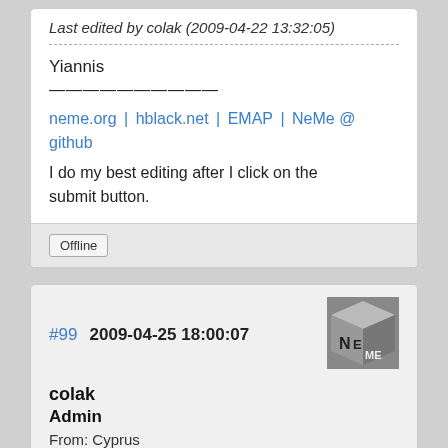Last edited by colak (2009-04-22 13:32:05)
Yiannis
——————————
neme.org | hblack.net | EMAP | NeMe @ github
I do my best editing after I click on the submit button.
Offline
#99  2009-04-25 18:00:07
[Figure (logo): NeMe logo cube icon, grey metallic 3D cube with NE and ME letters]
colak
Admin
From: Cyprus
Registered: 2004-11-20